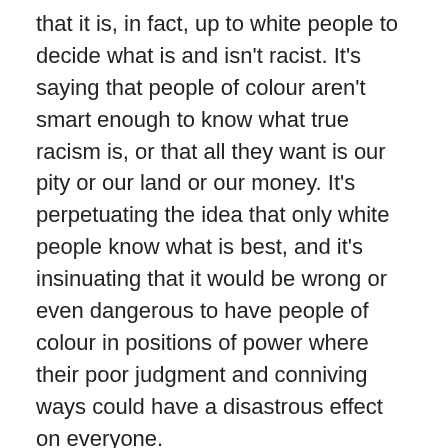that it is, in fact, up to white people to decide what is and isn't racist. It's saying that people of colour aren't smart enough to know what true racism is, or that all they want is our pity or our land or our money. It's perpetuating the idea that only white people know what is best, and it's insinuating that it would be wrong or even dangerous to have people of colour in positions of power where their poor judgment and conniving ways could have a disastrous effect on everyone.
Okay. What do we do now?
I'm going to say something that might seem really scary, but here it is:
Let people of colour have a voice. Seriously listen to what they have to say. When what they say frightens and confuses you, don't shut them out. Keep listening. Be